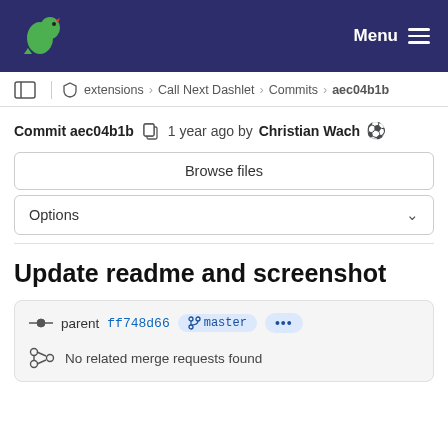Menu
extensions > Call Next Dashlet > Commits > aec04b1b
Commit aec04b1b  1 year ago by Christian Wach ⚽
Browse files
Options
Update readme and screenshot
parent ff748d66  master  ...
No related merge requests found